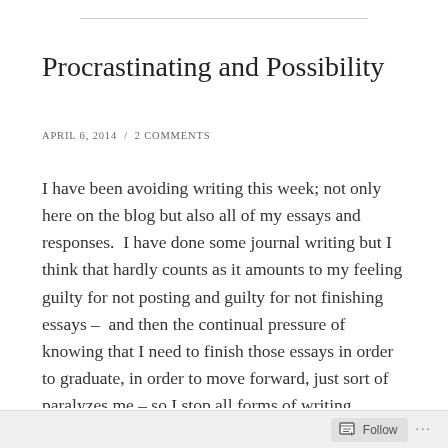Procrastinating and Possibility
April 6, 2014  /  2 Comments
I have been avoiding writing this week; not only here on the blog but also all of my essays and responses.  I have done some journal writing but I think that hardly counts as it amounts to my feeling guilty for not posting and guilty for not finishing essays –  and then the continual pressure of knowing that I need to finish those essays in order to graduate, in order to move forward, just sort of paralyzes me – so I stop all forms of writing because if I'm doing one, I should be doing the other instead. Today I'm attempting to break the cycle.  I'm posting here and
Follow ...